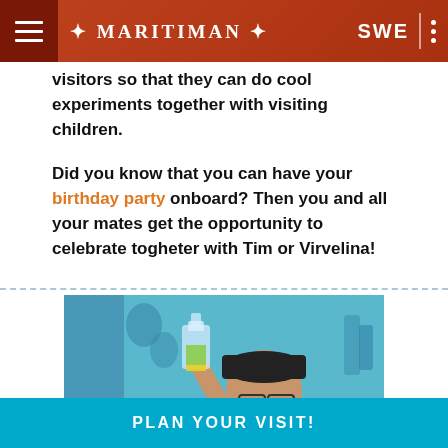MARITIMAN | SWE
visitors so that they can do cool experiments together with visiting children.
Did you know that you can have your birthday party onboard? Then you and all your mates get the opportunity to celebrate togheter with Tim or Virvelina!
[Figure (photo): A person wearing glasses and a dark cap holding up a beaker/flask with green-yellow liquid against a blue background, appearing to examine it.]
PLAN YOUR VISIT!